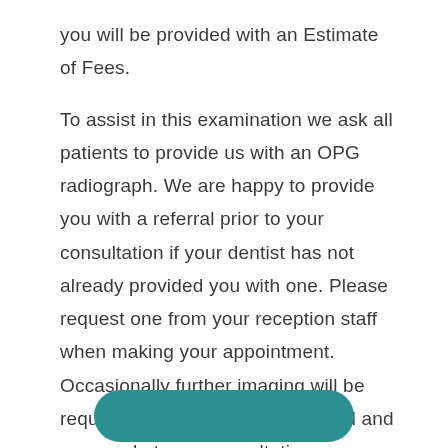you will be provided with an Estimate of Fees.
To assist in this examination we ask all patients to provide us with an OPG radiograph. We are happy to provide you with a referral prior to your consultation if your dentist has not already provided you with one. Please request one from your reception staff when making your appointment. Occasionally further imaging will be required and this will be discussed and arranged at your consultation.
[Figure (other): Teal/dark cyan rounded rectangle button at the bottom of the page]